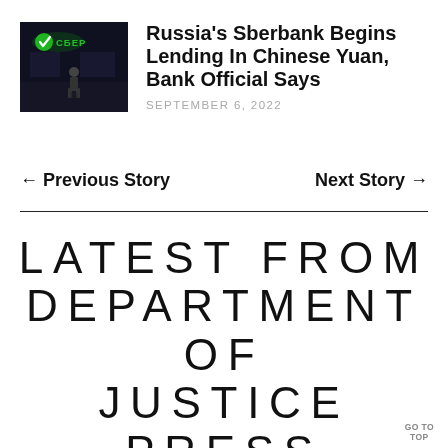[Figure (photo): Sberbank store front at night showing green СБЕР logo sign with person silhouette]
Russia's Sberbank Begins Lending In Chinese Yuan, Bank Official Says
SEPTEMBER 6, 2022
← Previous Story
Next Story →
LATEST FROM DEPARTMENT OF JUSTICE PRESS
GO TO TOP